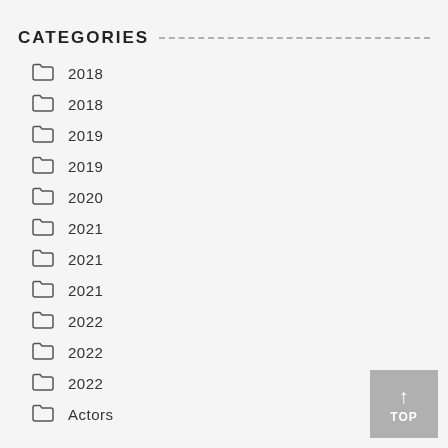CATEGORIES
2018
2018
2019
2019
2020
2021
2021
2021
2022
2022
2022
Actors